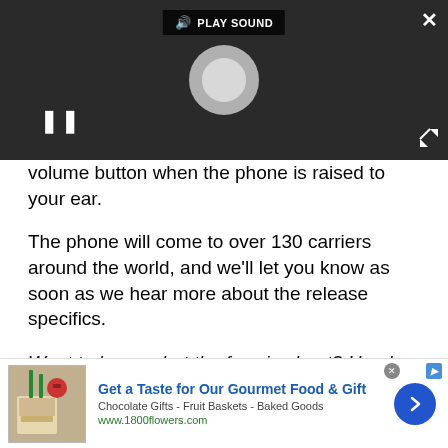[Figure (screenshot): Video player UI with dark background, PLAY SOUND label, loading spinner, pause button, close and expand icons]
volume button when the phone is raised to your ear.
The phone will come to over 130 carriers around the world, and we'll let you know as soon as we hear more about the release specifics.
Want to know what the fuss is about? Here's our hands-on preview:
[Figure (screenshot): Advertisement banner: Get a Taste for Our Gourmet Food & Gift - Chocolate Gifts - Fruit Baskets - Baked Goods - www.1800flowers.com]